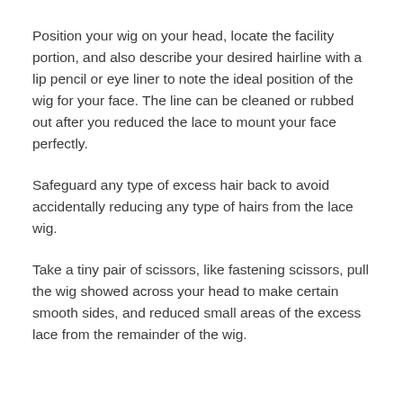Position your wig on your head, locate the facility portion, and also describe your desired hairline with a lip pencil or eye liner to note the ideal position of the wig for your face. The line can be cleaned or rubbed out after you reduced the lace to mount your face perfectly.
Safeguard any type of excess hair back to avoid accidentally reducing any type of hairs from the lace wig.
Take a tiny pair of scissors, like fastening scissors, pull the wig showed across your head to make certain smooth sides, and reduced small areas of the excess lace from the remainder of the wig.